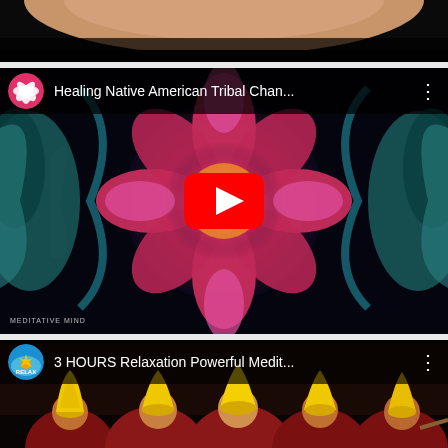[Figure (screenshot): Top portion of a YouTube video showing a partial view of a person - only chin/neck area visible against dark background]
[Figure (screenshot): YouTube video thumbnail: 'Healing Native American Tribal Chan...' by Meditative Mind channel. Shows a colorful kaleidoscopic mandala pattern with pink/red/yellow/blue psychedelic symmetrical design. Red YouTube play button in center. Channel icon is pink circle with white lotus flower. Three-dot menu on right. Watermark 'MEDITATIVE MIND' bottom left.]
[Figure (screenshot): YouTube video thumbnail: '3 HOURS Relaxation Powerful Medit...' with RELAX channel icon (circular with starfish/beach theme). Shows group of Tibetan Buddhist monks in maroon robes wearing tall yellow ceremonial hats, smiling and performing. Three-dot menu on right.]